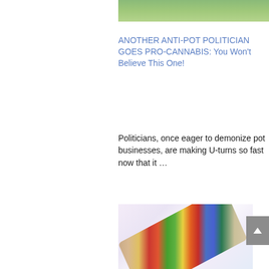[Figure (photo): Top portion of a nature/outdoor photo with green foliage]
ANOTHER ANTI-POT POLITICIAN GOES PRO-CANNABIS: You Won't Believe This One!
Politicians, once eager to demonize pot businesses, are making U-turns so fast now that it …
[Figure (photo): A colorful arrangement of vegetables and foods held in hands, with a light background with rainbow-like colors]